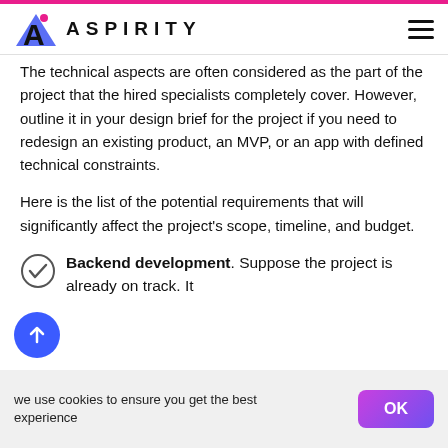ASPIRITY
The technical aspects are often considered as the part of the project that the hired specialists completely cover. However, outline it in your design brief for the project if you need to redesign an existing product, an MVP, or an app with defined technical constraints.
Here is the list of the potential requirements that will significantly affect the project's scope, timeline, and budget.
Backend development. Suppose the project is already on track. It
we use cookies to ensure you get the best experience